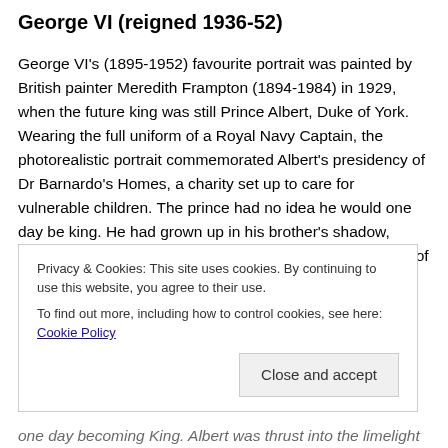George VI (reigned 1936-52)
George VI's (1895-1952) favourite portrait was painted by British painter Meredith Frampton (1894-1984) in 1929, when the future king was still Prince Albert, Duke of York. Wearing the full uniform of a Royal Navy Captain, the photorealistic portrait commemorated Albert's presidency of Dr Barnardo's Homes, a charity set up to care for vulnerable children. The prince had no idea he would one day be king. He had grown up in his brother's shadow, suffering from a stammer, which made his duties as Duke of York difficult...
Privacy & Cookies: This site uses cookies. By continuing to use this website, you agree to their use. To find out more, including how to control cookies, see here: Cookie Policy
Close and accept
one day becoming King. Albert was thrust into the limelight